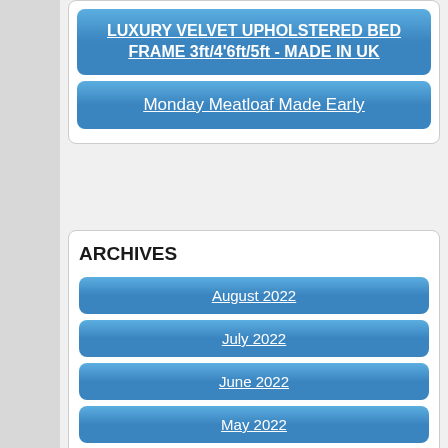LUXURY VELVET UPHOLSTERED BED FRAME 3ft/4'6ft/5ft - MADE IN UK
Monday Meatloaf Made Early
ARCHIVES
August 2022
July 2022
June 2022
May 2022
April 2022
March 2022
February 2022